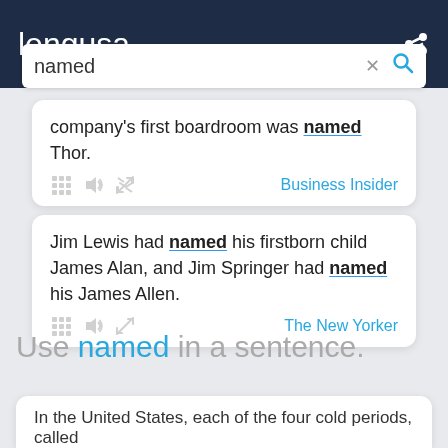lengusa
named
company's first boardroom was named Thor.
Business Insider
Jim Lewis had named his firstborn child James Alan, and Jim Springer had named his James Allen.
The New Yorker
Use named in a sentence.
In the United States, each of the four cold periods, called